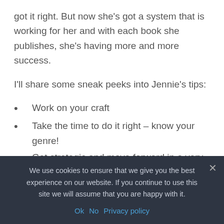got it right. But now she's got a system that is working for her and with each book she publishes, she's having more and more success.
I'll share some sneak peeks into Jennie's tips:
Work on your craft
Take the time to do it right – know your genre!
Get strategic and move forward in a very specific way
We use cookies to ensure that we give you the best experience on our website. If you continue to use this site we will assume that you are happy with it.